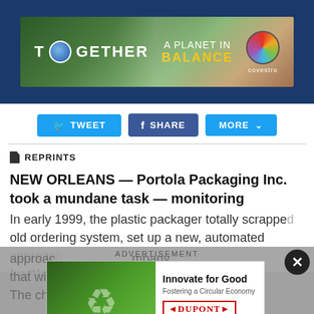[Figure (illustration): Covestro advertisement banner: 'TOGETHER — A PLANET IN BALANCE' with globe icon and colorful Covestro circular logo, mountain background]
TWEET   SHARE   MORE
REPRINTS
NEW ORLEANS — Portola Packaging Inc. took a mundane task — monitoring customer complaints — and put the process online. The result helped reinvent the San Jose, Calif.-based closure and bottle molder.
In early 1999, the plastic packager totally scrapped old ordering system, set up a new, automated approach...mpany that will...sors. The cha...will
[Figure (illustration): DuPont 'Innovate for Good — Fostering a Circular Economy' advertisement with green recycling imagery and DuPont logo]